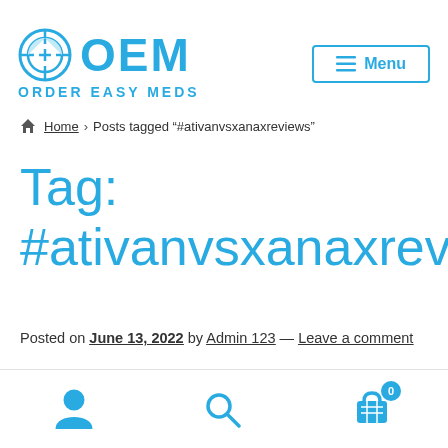OEM ORDER EASY MEDS — Menu
Home > Posts tagged "#ativanvsxanaxreviews"
Tag: #ativanvsxanaxreviews
Posted on June 13, 2022 by Admin 123 — Leave a comment
User icon | Search icon | Cart icon (0)